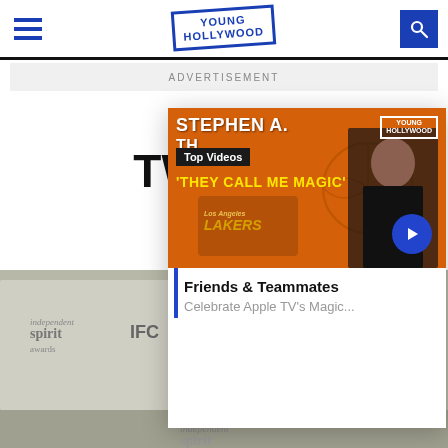Young Hollywood
ADVERTISEMENT
TWO TH... ROG...
04-04-...
[Figure (screenshot): Young Hollywood top videos panel showing Stephen A. Smith with 'They Call Me Magic' video thumbnail and 'Friends & Teammates Celebrate Apple TV's Magic' label]
[Figure (photo): Background photo of a man with glasses at Independent Spirit Awards / IFC event]